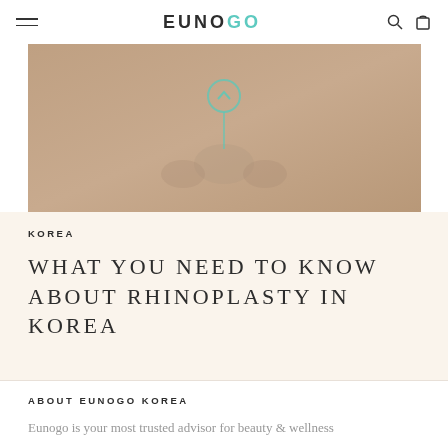EUNO GO — navigation bar with hamburger menu, logo, search and cart icons
[Figure (photo): Close-up photo of a nose/face in muted tan/beige tones with a teal circular arrow overlay icon and a vertical teal line below it, suggesting a before/after rhinoplasty comparison slider]
KOREA
WHAT YOU NEED TO KNOW ABOUT RHINOPLASTY IN KOREA
ABOUT EUNOGO KOREA
Eunogo is your most trusted advisor for beauty & wellness